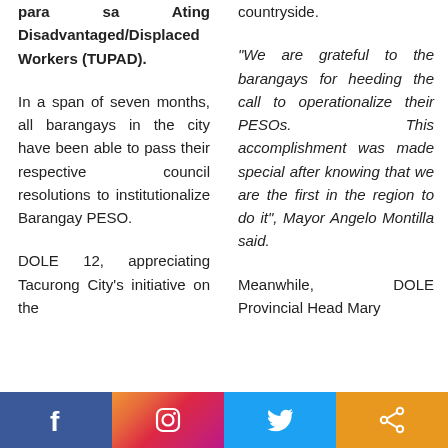para sa Ating Disadvantaged/Displaced Workers (TUPAD).
In a span of seven months, all barangays in the city have been able to pass their respective council resolutions to institutionalize Barangay PESO.
DOLE 12, appreciating Tacurong City's initiative on the
countryside.
“We are grateful to the barangays for heeding the call to operationalize their PESOs. This accomplishment was made special after knowing that we are the first in the region to do it”, Mayor Angelo Montilla said.
Meanwhile, DOLE Provincial Head Mary